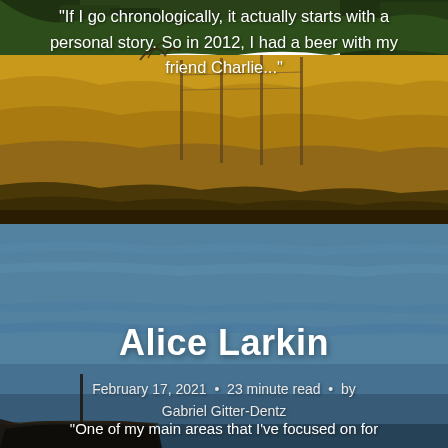[Figure (photo): Rural landscape with golden grassy field, fence posts, dark tree silhouettes in background, warm sunset lighting]
"If I go chronologically, it actually starts with a personal story. So in 2012, I had a beer with my friend Charlie..."
[Figure (photo): Calm blue-teal harbor/bay water with a dark boat/ship visible in the lower left corner]
Alice Larkin
February 17, 2021 • 23 minute read • by Gabriel Gitter-Dentz
"One of my main areas that I've focused on for